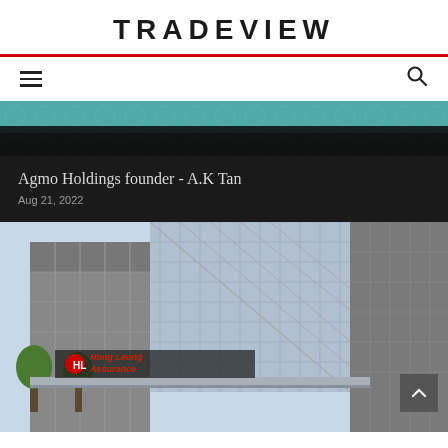TRADEVIEW
[Figure (photo): Partial view of a building exterior with teal/dark background, top portion of an article image]
Agmo Holdings founder - A.K Tan
Aug 21, 2022
[Figure (photo): Exterior photo of Hong Leong Assurance building with glass facade and signage]